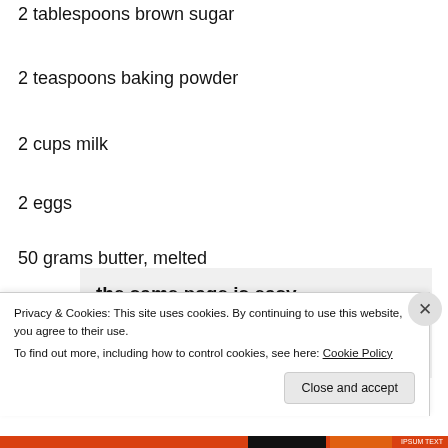2 tablespoons brown sugar
2 teaspoons baking powder
2 cups milk
2 eggs
50 grams butter, melted
[Figure (screenshot): Promo banner with text 'the same page is easy. And free.' and circular avatar images below]
Privacy & Cookies: This site uses cookies. By continuing to use this website, you agree to their use.
To find out more, including how to control cookies, see here: Cookie Policy
Close and accept